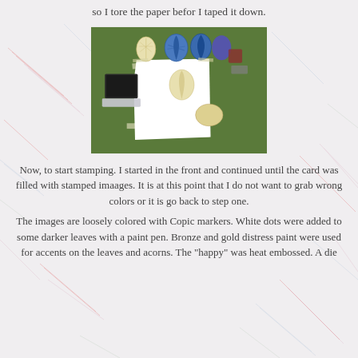so I tore the paper befor I taped it down.
[Figure (photo): A craft workspace showing rubber stamps of leaves and acorns in cream and blue colors, an ink pad, white paper taped to a green cutting mat, and stamping supplies arranged on the mat.]
Now, to start stamping.  I started in the front and continued until the card was filled with stamped imaages.  It is at this point that I do not want to grab wrong colors or it is go back to step one. The images are loosely colored with Copic markers.  White dots were added to some darker leaves with a paint pen. Bronze and gold distress paint were used for accents on the leaves and acorns.  The "happy" was heat embossed.  A die